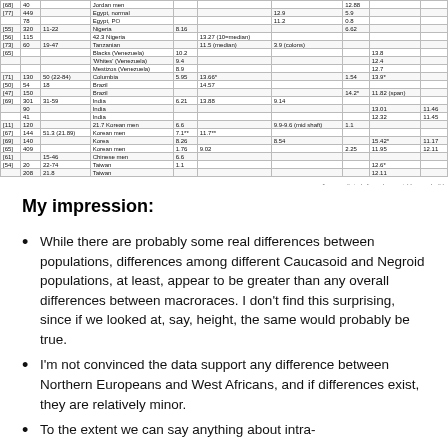| [68] | 40 |  | Jordan men |  |  |  | 12.88 |  |  |
| [77] | 449 |  | Egypt, normal |  |  | 12.9 | 5.9 |  |  |
|  | 78 |  | Egypt, PO |  |  | 11.2 | 0.8 |  |  |
| [55] | 320 | 11-22 | Nigeria | 8.16 |  | 6.62 |  |  |  |
| [56] | 115 |  | 42.3 Nigeria |  | 13.27 (10=median) |  |  |  |  |
| [73] | 60 | 19-47 | Tanzanian |  | 11.5 (median) | 3.9 (colons) |  |  |  |
| [65] |  |  | Blacks (Venezuela) | 10.2 |  |  |  | 13.8 |  |
|  |  |  | 'Whites' (Venezuela) | 9.4 |  |  |  | 12.4 |  |
|  |  |  | Mestizos (Venezuela) | 8.9 |  |  |  | 12.7 |  |
| [71] | 130 | 50 (22-84) | Columbia | 5.95 | 13.66* |  | 1.54 | 13.9* |  |
| [50] | 54 | 18 | Brazil |  | 14.57 |  |  |  |  |
| [47] | 150 |  | Brazil |  |  |  | 14.2* | 11.82 (span) |  |
| [69] | 301 | 31-59 | India | 6.21 | 13.88 | 9.14 |  |  |  |
|  | 90 |  | India |  |  |  |  | 13.01 | 11.46 |
|  | 41 |  | India |  |  |  |  | 12.32 | 11.45 |
| [11] | 120 |  | 21.7 Korean men | 6.6 |  | 9.9-9.6 (mid shaft) | 1.1 |  |  |
| [67] | 144 | 51.3 (21.89) | Korean men | 7.1** | 11.7** |  |  |  |  |
| [69] | 140 |  | Korea | 8.26 |  | 8.54 |  | 15.42* | 11.17 |
| [65] | 409 |  | Korean men | 1.76 | 9.02 |  | 2.25 | 11.95 | 12.11 |
| [61] |  | 15-46 | Chinese men | 6.6 |  |  |  |  |  |
| [54] | 20 | 22-74 | Taiwan | 1.1 |  |  |  | 12.6* |  |
|  | 208 | 21.8 | Taiwan |  |  |  |  | 12.11 |  |
* apparently including subprepucial (or pan depth)
My impression:
While there are probably some real differences between populations, differences among different Caucasoid and Negroid populations, at least, appear to be greater than any overall differences between macroraces. I don't find this surprising, since if we looked at, say, height, the same would probably be true.
I'm not convinced the data support any difference between Northern Europeans and West Africans, and if differences exist, they are relatively minor.
To the extent we can say anything about intra-